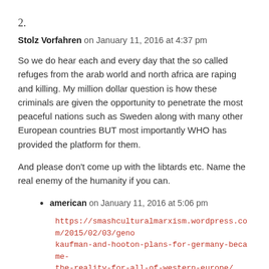2.
Stolz Vorfahren on January 11, 2016 at 4:37 pm
So we do hear each and every day that the so called refuges from the arab world and north africa are raping and killing. My million dollar question is how these criminals are given the opportunity to penetrate the most peaceful nations such as Sweden along with many other European countries BUT most importantly WHO has provided the platform for them.
And please don’t come up with the libtards etc. Name the real enemy of the humanity if you can.
american on January 11, 2016 at 5:06 pm
https://smashculturalmarxism.wordpress.com/2015/02/03/geno-kaufman-and-hooton-plans-for-germany-became-the-reality-for-all-of-western-europe/